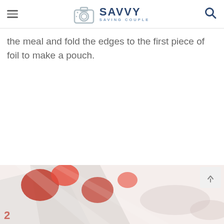SAVVY SAVING COUPLE
the meal and fold the edges to the first piece of foil to make a pouch.
[Figure (photo): Partial view of a food dish (foil packet meal) at the bottom of the page, cropped, showing colorful ingredients including red and yellow items.]